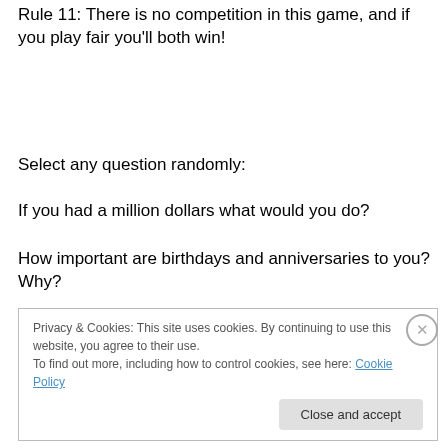Rule 11: There is no competition in this game, and if you play fair you'll both win!
Select any question randomly:
If you had a million dollars what would you do?
How important are birthdays and anniversaries to you? Why?
Privacy & Cookies: This site uses cookies. By continuing to use this website, you agree to their use.
To find out more, including how to control cookies, see here: Cookie Policy